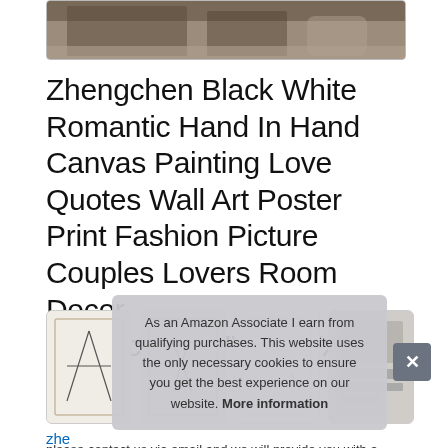[Figure (photo): Top portion of a product image showing a room interior scene with furniture]
Zhengchen Black White Romantic Hand In Hand Canvas Painting Love Quotes Wall Art Poster Print Fashion Picture Couples Lovers Room Decor 40x50cm/15.7"x19.6"x3 No Frame
[Figure (photo): Row of four product thumbnail images showing art prints]
zhe
please contact us via email and we will provide you with a
As an Amazon Associate I earn from qualifying purchases. This website uses the only necessary cookies to ensure you get the best experience on our website. More information